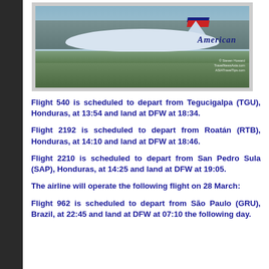[Figure (photo): American Airlines airplane on tarmac at an airport. Watermark: © Steven Howard, TravelNewsAsia.com, ASIATravelTips.com]
Flight 540 is scheduled to depart from Tegucigalpa (TGU), Honduras, at 13:54 and land at DFW at 18:34.
Flight 2192 is scheduled to depart from Roatán (RTB), Honduras, at 14:10 and land at DFW at 18:46.
Flight 2210 is scheduled to depart from San Pedro Sula (SAP), Honduras, at 14:25 and land at DFW at 19:05.
The airline will operate the following flight on 28 March:
Flight 962 is scheduled to depart from São Paulo (GRU), Brazil, at 22:45 and land at DFW at 07:10 the following day.